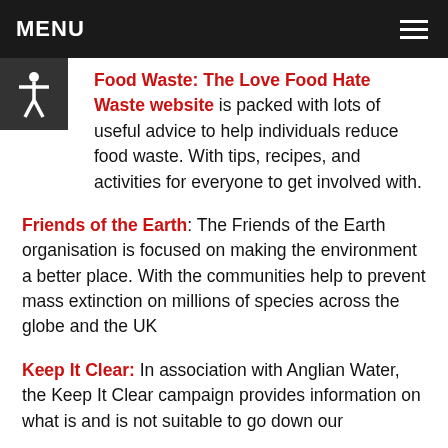MENU
Food Waste: The Love Food Hate Waste website is packed with lots of useful advice to help individuals reduce food waste. With tips, recipes, and activities for everyone to get involved with.
Friends of the Earth: The Friends of the Earth organisation is focused on making the environment a better place. With the communities help to prevent mass extinction on millions of species across the globe and the UK
Keep It Clear: In association with Anglian Water, the Keep It Clear campaign provides information on what is and is not suitable to go down our